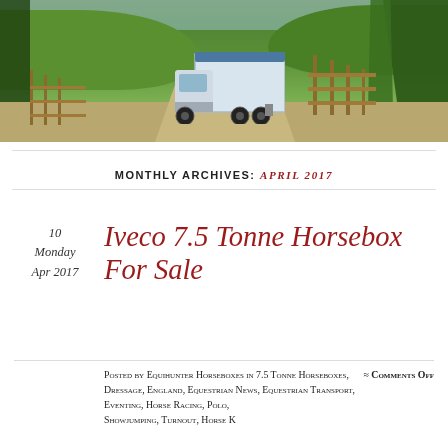[Figure (photo): A large white horsebox truck driving down a country road surrounded by green hills, trees, and wooden fencing on a sunny day.]
MONTHLY ARCHIVES: APRIL 2017
10
Monday
Apr 2017
Iveco 7.5 Tonne Horsebox For Sale
Posted by Equihunter Horseboxes in 7.5 Tonne Horseboxes, Dressage, England, Equestrian News, Equestrian Transport, Eventing, Horse Racing, Polo, Showjumping, Turnout, Horse K…
≈ Comments Off